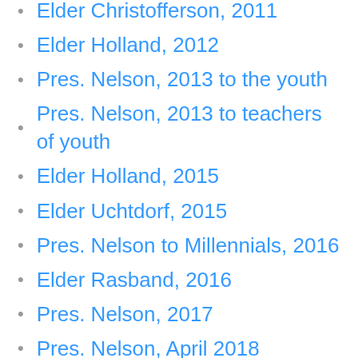Elder Christofferson, 2011
Elder Holland, 2012
Pres. Nelson, 2013 to the youth
Pres. Nelson, 2013 to teachers of youth
Elder Holland, 2015
Elder Uchtdorf, 2015
Pres. Nelson to Millennials, 2016
Elder Rasband, 2016
Pres. Nelson, 2017
Pres. Nelson, April 2018
Pres. Nelson, October 2018
Pres. Nelson, October 2018 in Chile
Elder Rasband, October 2018
Pres. Nelson, April 2019
Elder Uchtdorf, April 2019
Elder Stevenson, April 2019